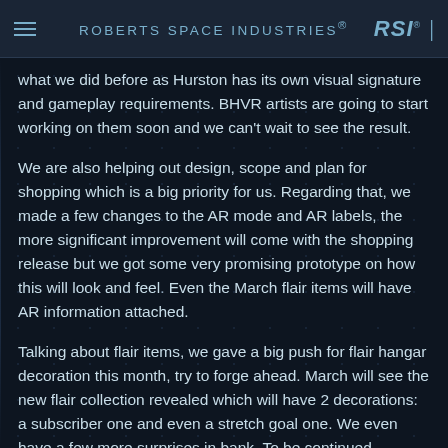ROBERTS SPACE INDUSTRIES®
what we did before as Hurston has its own visual signature and gameplay requirements. BHVR artists are going to start working on them soon and we can't wait to see the result.
We are also helping out design, scope and plan for shopping which is a big priority for us. Regarding that, we made a few changes to the AR mode and AR labels, the more significant improvement will come with the shopping release but we got some very promising prototype on how this will look and feel. Even the March flair items will have AR information attached.
Talking about flair items, we gave a big push for flair hangar decoration this month, try to forge ahead. March will see the new flair collection revealed which will have 2 decorations: a subscriber one and even a stretch goal one. We even have a few more surprises in bank. To be continued...